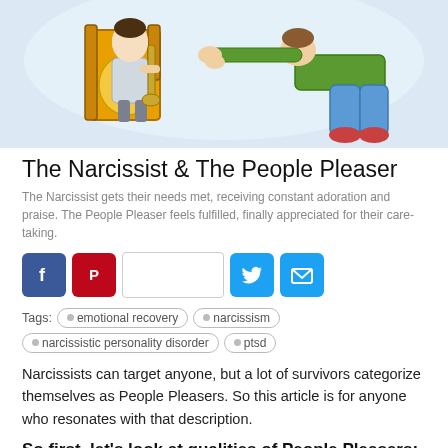[Figure (illustration): Cartoon illustration of a narcissist sitting on a throne-like chair being bowed to by a person in green top and blue jeans on their knees, light blue watercolor background]
The Narcissist & The People Pleaser
The Narcissist gets their needs met, receiving constant adoration and praise. The People Pleaser feels fulfilled, finally appreciated for their care-taking.
[Figure (infographic): Social sharing buttons: Facebook (blue), Pinterest (red), share box (blank white), Twitter (blue), Email (blue envelope)]
Tags:  emotional recovery  narcissism  narcissistic personality disorder  ptsd
Narcissists can target anyone, but a lot of survivors categorize themselves as People Pleasers. So this article is for anyone who resonates with that description.
So first, let's look at qualities of People Pleasers:
Focused on the needs of others: People Pleasers tend